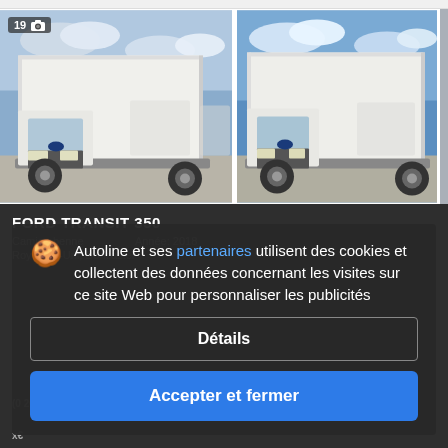[Figure (photo): White Ford Transit 350 box van photographed at an outdoor vehicle lot, front-left quarter view, large white box body visible, overcast sky]
[Figure (photo): White Ford Transit 350 box van photographed at an outdoor vehicle lot, front-left quarter view, similar to first photo, blue sky with clouds]
FORD TRANSIT 350
Camion benne, Année: 2018
Royaume-Uni, Doncaster
Autoline et ses partenaires utilisent des cookies et collectent des données concernant les visites sur ce site Web pour personnaliser les publicités
Détails
Accepter et fermer
Programmes de partenariat Autoline